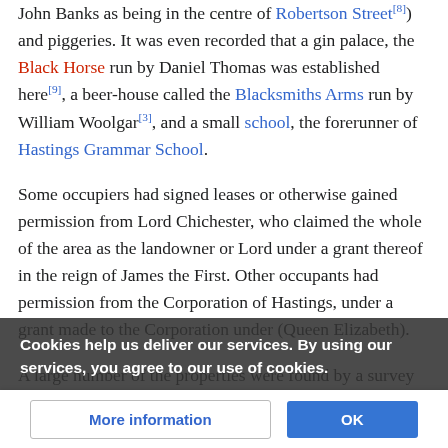John Banks as being in the centre of Robertson Street[8]) and piggeries. It was even recorded that a gin palace, the Black Horse run by Daniel Thomas was established here[9], a beer-house called the Blacksmiths Arms run by William Woolgar[3], and a small school, the forerunner of Hastings Grammar School.
Some occupiers had signed leases or otherwise gained permission from Lord Chichester, who claimed the whole of the area as the landowner or Lord under a grant thereof in the reign of James the First. Other occupants had permission from the Corporation of Hastings, under a grant made to the Corporation under (Queen Elizabeth).
A large number of the properties were found by a survey of the [ownership]
Cookies help us deliver our services. By using our services, you agree to our use of cookies.
More information | OK